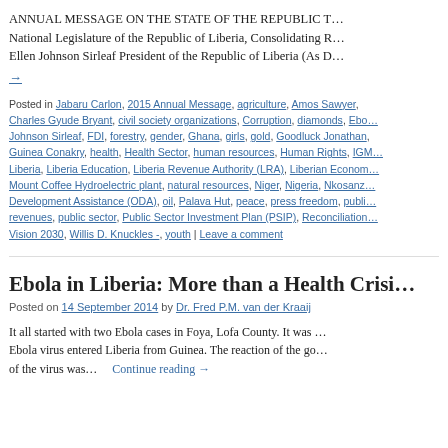ANNUAL MESSAGE ON THE STATE OF THE REPUBLIC T… National Legislature of the Republic of Liberia, Consolidating R… Ellen Johnson Sirleaf President of the Republic of Liberia (As D…
→
Posted in Jabaru Carlon, 2015 Annual Message, agriculture, Amos Sawyer, Charles Gyude Bryant, civil society organizations, Corruption, diamonds, Ebo… Johnson Sirleaf, FDI, forestry, gender, Ghana, girls, gold, Goodluck Jonathan, Guinea Conakry, health, Health Sector, human resources, Human Rights, IGM… Liberia, Liberia Education, Liberia Revenue Authority (LRA), Liberian Econom… Mount Coffee Hydroelectric plant, natural resources, Niger, Nigeria, Nkosanz… Development Assistance (ODA), oil, Palava Hut, peace, press freedom, publi… revenues, public sector, Public Sector Investment Plan (PSIP), Reconciliation… Vision 2030, Willis D. Knuckles -, youth | Leave a comment
Ebola in Liberia: More than a Health Crisi…
Posted on 14 September 2014 by Dr. Fred P.M. van der Kraaij
It all started with two Ebola cases in Foya, Lofa County. It was … Ebola virus entered Liberia from Guinea. The reaction of the go… of the virus was… Continue reading →